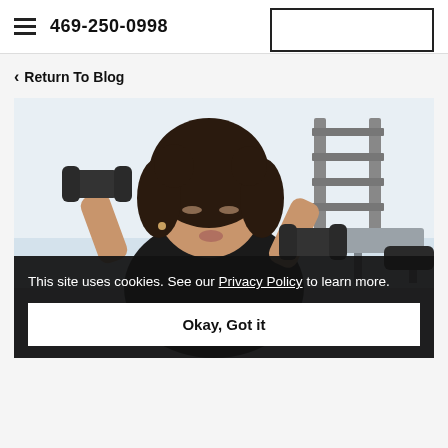469-250-0998
Return To Blog
[Figure (photo): Woman lifting dumbbells in a gym, wearing black, with curly hair, weights rack in background]
This site uses cookies. See our Privacy Policy to learn more.
Okay, Got it